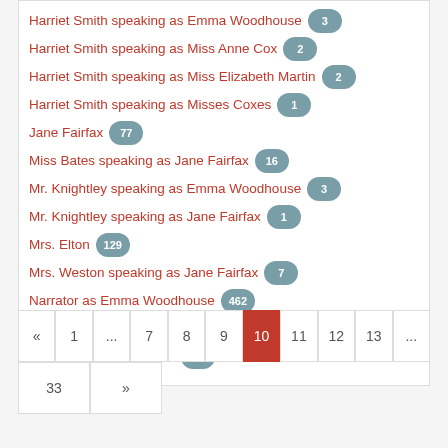Harriet Smith speaking as Emma Woodhouse 3
Harriet Smith speaking as Miss Anne Cox 2
Harriet Smith speaking as Miss Elizabeth Martin 2
Harriet Smith speaking as Misses Coxes 1
Jane Fairfax 77
Miss Bates speaking as Jane Fairfax 16
Mr. Knightley speaking as Emma Woodhouse 3
Mr. Knightley speaking as Jane Fairfax 1
Mrs. Elton 129
Mrs. Weston speaking as Jane Fairfax 7
Narrator as Emma Woodhouse 462
Narrator as Harriet Smith 29
Narrator as Jane Fairfax 4
« 1 ... 7 8 9 10 11 12 13 ... 33 »